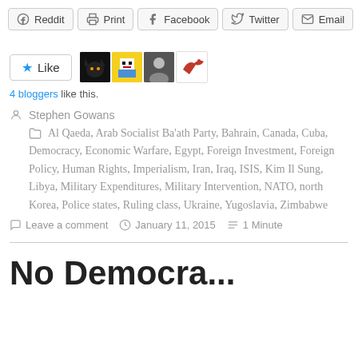Reddit | Print | Facebook | Twitter | Email
[Figure (other): Like button with star icon and 4 blogger avatars (black cat, pixel character, person, bird)]
4 bloggers like this.
Stephen Gowans
Al Qaeda, Arab Socialist Ba'ath Party, Bahrain, Canada, Cuba, Democracy, Economic Warfare, Egypt, Foreign Investment, Foreign Policy, Human Rights, Imperialism, Iran, Iraq, ISIS, Kim Il Sung, Libya, Military Expenditures, Military Intervention, NATO, north Korea, Police states, Ruling class, Ukraine, Yugoslavia, Zimbabwe
Leave a comment | January 11, 2015 | 1 Minute